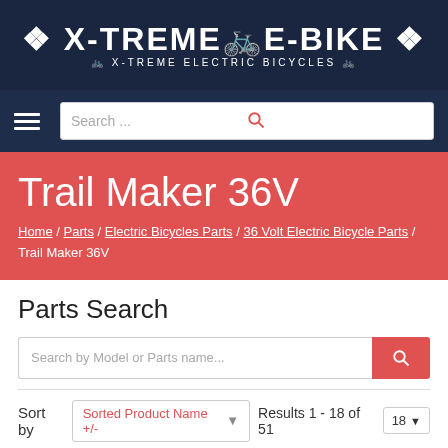X-TREME E-BIKE | X-TREME ELECTRIC BICYCLES
[Figure (screenshot): Navigation bar with hamburger menu and search box]
Trail Maker 36V
Home / Parts / Electric Bicycles Parts / 36 Volt Electric Bicycle Parts / Trail Maker 36V
Parts Search
Search by Model or Parts name...
Sort by Sorted Product Name +/-   Results 1 - 18 of 51   18